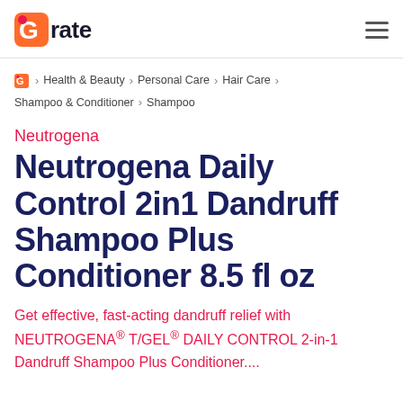Grate
G > Health & Beauty > Personal Care > Hair Care > Shampoo & Conditioner > Shampoo
Neutrogena
Neutrogena Daily Control 2in1 Dandruff Shampoo Plus Conditioner 8.5 fl oz
Get effective, fast-acting dandruff relief with NEUTROGENA® T/GEL® DAILY CONTROL 2-in-1 Dandruff Shampoo Plus Conditioner....